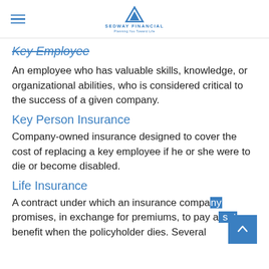Sedway Financial
Key Employee
An employee who has valuable skills, knowledge, or organizational abilities, who is considered critical to the success of a given company.
Key Person Insurance
Company-owned insurance designed to cover the cost of replacing a key employee if he or she were to die or become disabled.
Life Insurance
A contract under which an insurance company promises, in exchange for premiums, to pay a set benefit when the policyholder dies. Several